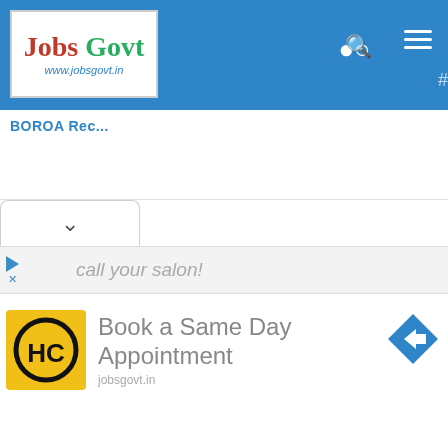[Figure (logo): Jobs Govt website logo - red 'Jobs' green 'Govt' text with www.jobsgovt.in URL below, in a white bordered box on blue navigation bar]
Jobs Govt www.jobsgovt.in
BOROA Rec...
[Figure (other): Advertisement area with HC (yellow square logo), 'call your salon!' text, navigation arrow icon, and 'Book a Same Day Appointment' text]